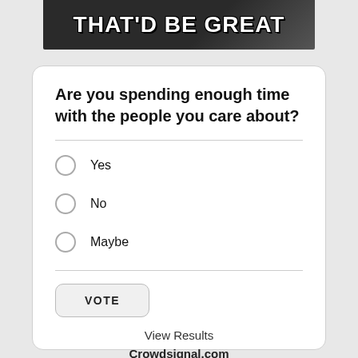[Figure (photo): Meme image banner with bold white text on dark background reading THAT'D BE GREAT]
Are you spending enough time with the people you care about?
Yes
No
Maybe
VOTE
View Results
Crowdsignal.com